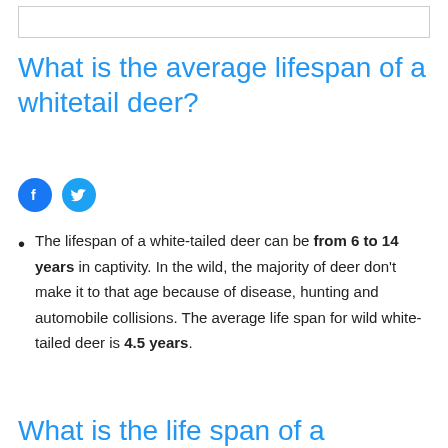What is the average lifespan of a whitetail deer?
[Figure (other): Facebook and Twitter social share icon buttons]
The lifespan of a white-tailed deer can be from 6 to 14 years in captivity. In the wild, the majority of deer don't make it to that age because of disease, hunting and automobile collisions. The average life span for wild white-tailed deer is 4.5 years.
What is the life span of a